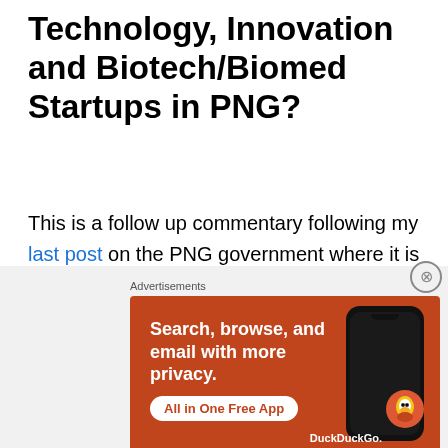Technology, Innovation and Biotech/Biomed Startups in PNG?
This is a follow up commentary following my last post on the PNG government where it is about to inject nearly USD 3 million into a biomed startup. From the news conference held by the scientific team of this startup, I learnt that the company screened database of existing drugs to identify drugs that have the potential to treat COVID-19. So what this company proposes to do next is run a clinical trial in PNG. I am confused as to what new
[Figure (infographic): DuckDuckGo advertisement banner with orange background showing 'Search, browse, and email with more privacy. All in One Free App' with a smartphone graphic and DuckDuckGo logo]